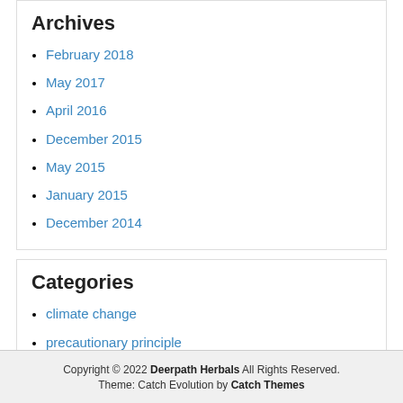Archives
February 2018
May 2017
April 2016
December 2015
May 2015
January 2015
December 2014
Categories
climate change
precautionary principle
stress
trauma-informed yoga
Tree Medicine
Uncategorized
Copyright © 2022 Deerpath Herbals All Rights Reserved. Theme: Catch Evolution by Catch Themes